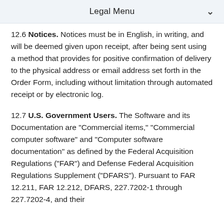Legal Menu
12.6 Notices. Notices must be in English, in writing, and will be deemed given upon receipt, after being sent using a method that provides for positive confirmation of delivery to the physical address or email address set forth in the Order Form, including without limitation through automated receipt or by electronic log.
12.7 U.S. Government Users. The Software and its Documentation are "Commercial items," "Commercial computer software" and "Computer software documentation" as defined by the Federal Acquisition Regulations ("FAR") and Defense Federal Acquisition Regulations Supplement ("DFARS"). Pursuant to FAR 12.211, FAR 12.212, DFARS, 227.7202-1 through 227.7202-4, and their successor the U.S. Government acquires the ...